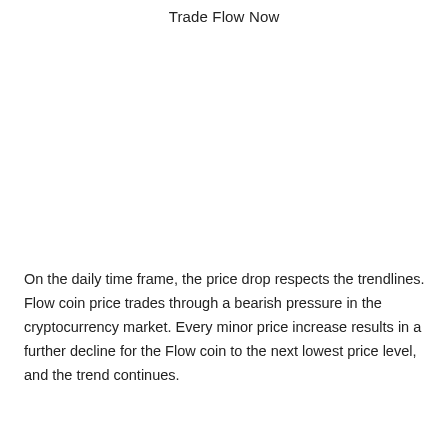Trade Flow Now
On the daily time frame, the price drop respects the trendlines. Flow coin price trades through a bearish pressure in the cryptocurrency market. Every minor price increase results in a further decline for the Flow coin to the next lowest price level, and the trend continues.